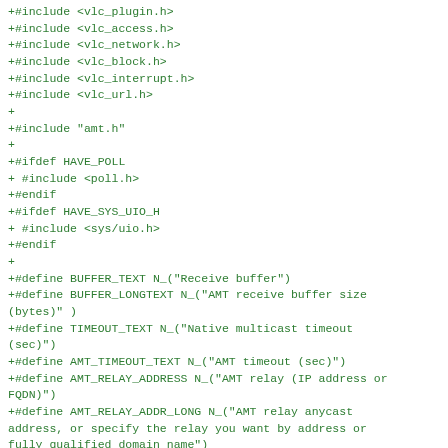+#include <vlc_plugin.h>
+#include <vlc_access.h>
+#include <vlc_network.h>
+#include <vlc_block.h>
+#include <vlc_interrupt.h>
+#include <vlc_url.h>
+
+#include "amt.h"
+
+#ifdef HAVE_POLL
+ #include <poll.h>
+#endif
+#ifdef HAVE_SYS_UIO_H
+ #include <sys/uio.h>
+#endif
+
+#define BUFFER_TEXT N_("Receive buffer")
+#define BUFFER_LONGTEXT N_("AMT receive buffer size (bytes)" )
+#define TIMEOUT_TEXT N_("Native multicast timeout (sec)")
+#define AMT_TIMEOUT_TEXT N_("AMT timeout (sec)")
+#define AMT_RELAY_ADDRESS N_("AMT relay (IP address or FQDN)")
+#define AMT_RELAY_ADDR_LONG N_("AMT relay anycast address, or specify the relay you want by address or fully qualified domain name")
+#define AMT_DEFAULT_RELAY N_("amt-relay.m2icast.net")
+
+static int  Open (vlc_object_t *);
+static void Close (vlc_object_t *);